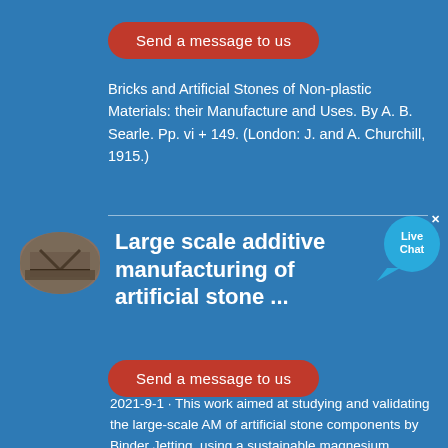[Figure (other): Red rounded button labeled 'Send a message to us']
Bricks and Artificial Stones of Non-plastic Materials: their Manufacture and Uses. By A. B. Searle. Pp. vi + 149. (London: J. and A. Churchill, 1915.)
[Figure (photo): Oval thumbnail photo of a large-scale construction or industrial site]
Large scale additive manufacturing of artificial stone ...
[Figure (other): Live Chat bubble icon]
[Figure (other): Red rounded button labeled 'Send a message to us']
2021-9-1 · This work aimed at studying and validating the large-scale AM of artificial stone components by Binder Jetting, using a sustainable magnesium potassium phosphate cement as a binder. The printing bed was comprised of aggregates, reactive